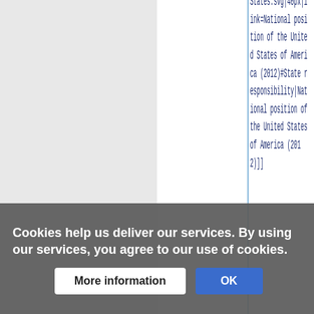States.svg|40px|link=National position of the United States of America (2012)#State responsibility|National position of the United States of America (2012)]]
Cookies help us deliver our services. By using our services, you agree to our use of cookies.